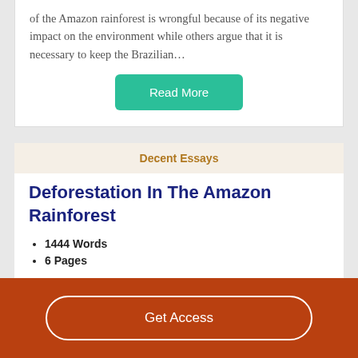of the Amazon rainforest is wrongful because of its negative impact on the environment while others argue that it is necessary to keep the Brazilian…
Read More
Decent Essays
Deforestation In The Amazon Rainforest
1444 Words
6 Pages
Introduction The Amazon Rainforest is located in nine different countries in South America (Fig. 1a) and contains
Get Access